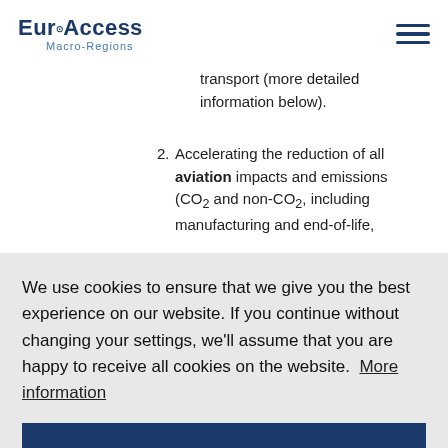EuroAccess Macro-Regions
transport (more detailed information below).
2. Accelerating the reduction of all aviation impacts and emissions (CO₂ and non-CO₂, including manufacturing and end-of-life,
We use cookies to ensure that we give you the best experience on our website. If you continue without changing your settings, we'll assume that you are happy to receive all cookies on the website.  More information
Agree
solutions in the shipping sector,